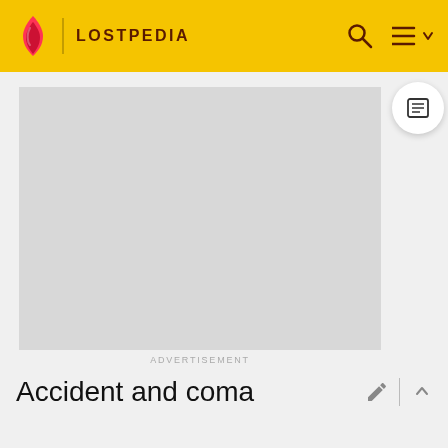LOSTPEDIA
[Figure (other): Advertisement placeholder — large light gray rectangle]
ADVERTISEMENT
Accident and coma
[Figure (photo): Partial photo visible at bottom of page — blonde hair and sparkly/glittery background]